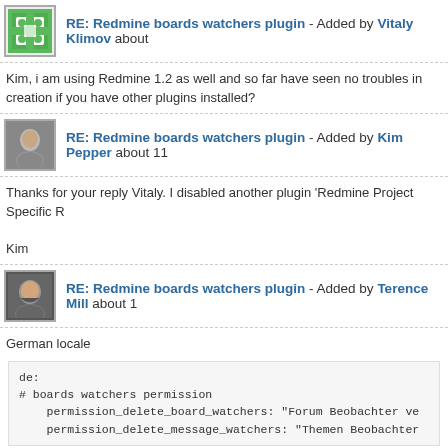RE: Redmine boards watchers plugin - Added by Vitaly Klimov about
Kim, i am using Redmine 1.2 as well and so far have seen no troubles in creation if you have other plugins installed?
RE: Redmine boards watchers plugin - Added by Kim Pepper about 11
Thanks for your reply Vitaly. I disabled another plugin 'Redmine Project Specific R

Kim
RE: Redmine boards watchers plugin - Added by Terence Mill about 1
German locale
de:
# boards watchers permission
    permission_delete_board_watchers: "Forum Beobachter ve
    permission_delete_message_watchers: "Themen Beobachter
RE: Redmine boards watchers plugin - Added by Terence Mill about 1
Ahhh!! noo! What did you do :(
We was so glad there was a drop-down liost control for watchers selction so far a block as in issues watchers when creating a new ticket. We wanted to change tha issues and as baord wacthers 0.0.5
We have a lot members (100+) in our projects ad this view is unusable.
Would you please go back to the drop down list and add/remove watcher interfac won't be accepted from our usability experts.